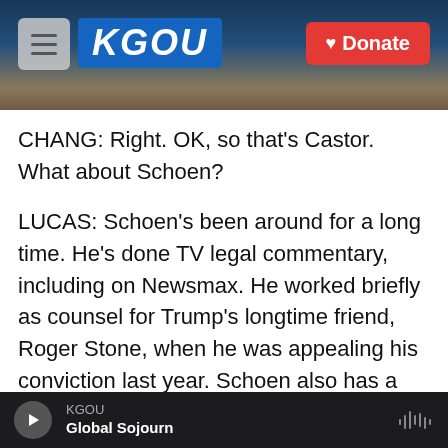[Figure (screenshot): KGOU radio station website screenshot showing header banner with KGOU logo, hamburger menu, Donate button, and a city skyline background image]
CHANG: Right. OK, so that's Castor. What about Schoen?
LUCAS: Schoen's been around for a long time. He's done TV legal commentary, including on Newsmax. He worked briefly as counsel for Trump's longtime friend, Roger Stone, when he was appealing his conviction last year. Schoen also has a link to Jeffrey Epstein, the disgraced financier and convicted sex offender. Schoen told the Atlanta Jewish Times back in 2019 that he met with Epstein in prison just days before Epstein hanged himself. Schoen said that he had agreed in that
KGOU — Global Sojourn